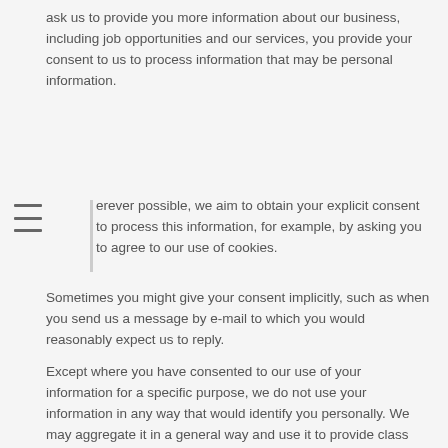ask us to provide you more information about our business, including job opportunities and our services, you provide your consent to us to process information that may be personal information.
Wherever possible, we aim to obtain your explicit consent to process this information, for example, by asking you to agree to our use of cookies.
Sometimes you might give your consent implicitly, such as when you send us a message by e-mail to which you would reasonably expect us to reply.
Except where you have consented to our use of your information for a specific purpose, we do not use your information in any way that would identify you personally. We may aggregate it in a general way and use it to provide class information, for example, to monitor the performance of a particular page on our website.
If you have given us explicit permission to do so, we may from time to time pass your name and contact information to selected associates whom we consider may provide services or products you would find useful.